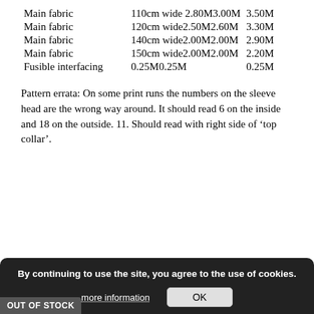| Material | Width/Size | Amount |
| --- | --- | --- |
| Main fabric | 110cm wide 2.80M3.00M | 3.50M |
| Main fabric | 120cm wide2.50M2.60M | 3.30M |
| Main fabric | 140cm wide2.00M2.00M | 2.90M |
| Main fabric | 150cm wide2.00M2.00M | 2.20M |
| Fusible interfacing | 0.25M0.25M | 0.25M |
Pattern errata: On some print runs the numbers on the sleeve head are the wrong way around. It should read 6 on the inside and 18 on the outside. 11. Should read with right side of 'top collar'.
By continuing to use the site, you agree to the use of cookies.
more information
OK
Out of stock